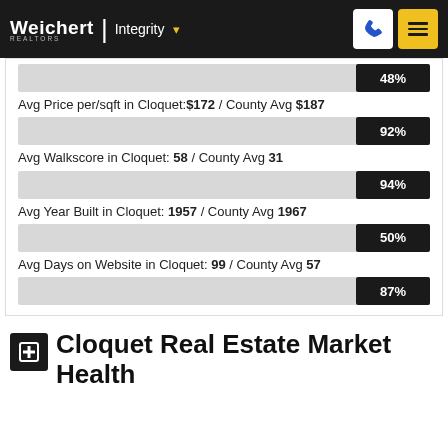Weichert REALTORS | Integrity
[Figure (bar-chart): Avg Price per/sqft in Cloquet: $172 / County Avg $187]
Avg Price per/sqft in Cloquet:$172 / County Avg $187
[Figure (bar-chart): Avg Walkscore in Cloquet: 58 / County Avg 31]
Avg Walkscore in Cloquet: 58 / County Avg 31
[Figure (bar-chart): Avg Year Built in Cloquet: 1957 / County Avg 1967]
Avg Year Built in Cloquet: 1957 / County Avg 1967
[Figure (bar-chart): Avg Days on Website in Cloquet: 99 / County Avg 57]
Avg Days on Website in Cloquet: 99 / County Avg 57
[Figure (bar-chart): ]
Cloquet Real Estate Market Health